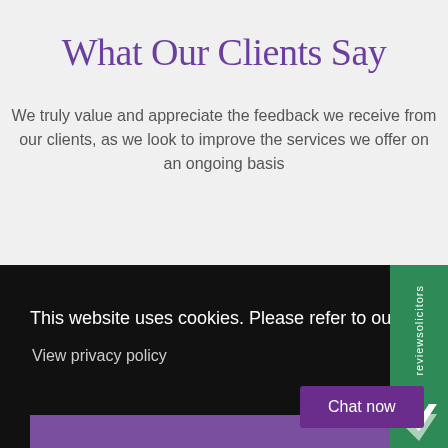What Our Clients Say
We truly value and appreciate the feedback we receive from our clients, as we look to improve the services we offer on an ongoing basis
This website uses cookies. Please refer to our privacy policy for more information.
View privacy policy
Got it!
[Figure (logo): reviewsolicitors vertical green sidebar with logo]
Chat now